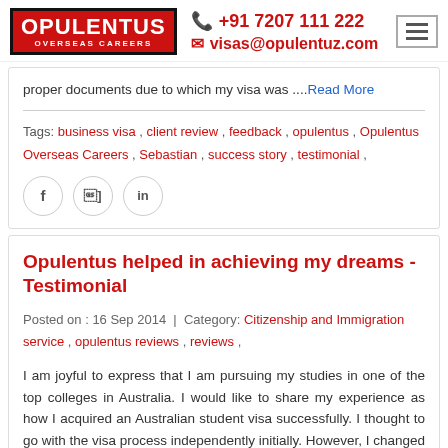OPULENTUS OVERSEAS CAREERS | +91 7207 111 222 | visas@opulentuz.com
proper documents due to which my visa was .... Read More
Tags: business visa , client review , feedback , opulentus , Opulentus Overseas Careers , Sebastian , success story , testimonial ,
Opulentus helped in achieving my dreams - Testimonial
Posted on : 16 Sep 2014 | Category: Citizenship and Immigration service , opulentus reviews , reviews ,
I am joyful to express that I am pursuing my studies in one of the top colleges in Australia. I would like to share my experience as how I acquired an Australian student visa successfully. I thought to go with the visa process independently initially. However, I changed my thought by my friends advice, who has suggested me that approaching